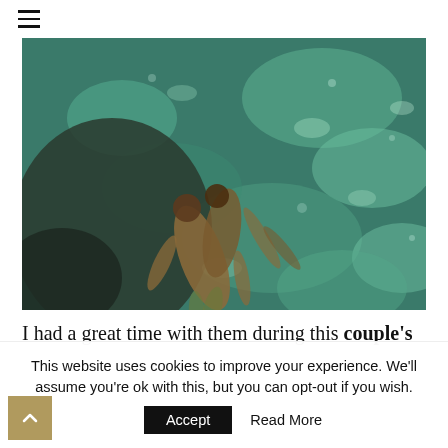☰ (hamburger menu icon)
[Figure (photo): Aerial/overhead view of a couple lying on dark rocks partially submerged in clear turquoise/green shallow water, shot from above.]
I had a great time with them during this couple's
This website uses cookies to improve your experience. We'll assume you're ok with this, but you can opt-out if you wish.
Accept
Read More